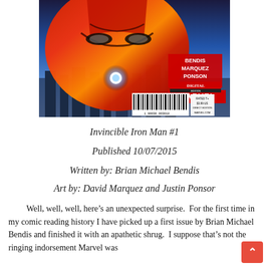[Figure (illustration): Comic book cover of Invincible Iron Man #1, showing Iron Man's red and gold helmet close-up with city below, Marvel Digital Edition logo, barcode, creators listed as Bendis, Marquez, Ponsor]
Invincible Iron Man #1
Published 10/07/2015
Written by: Brian Michael Bendis
Art by: David Marquez and Justin Ponsor
Well, well, well, here’s an unexpected surprise.  For the first time in my comic reading history I have picked up a first issue by Brian Michael Bendis and finished it with an apathetic shrug.  I suppose that’s not the ringing indorsement Marvel was